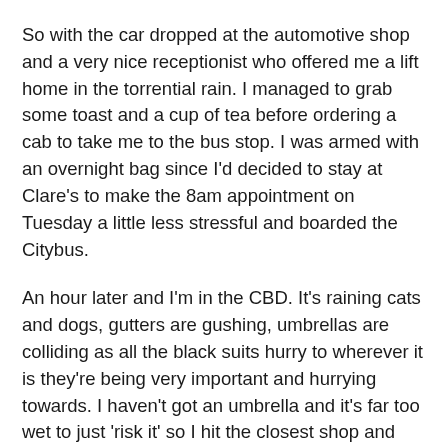So with the car dropped at the automotive shop and a very nice receptionist who offered me a lift home in the torrential rain. I managed to grab some toast and a cup of tea before ordering a cab to take me to the bus stop. I was armed with an overnight bag since I'd decided to stay at Clare's to make the 8am appointment on Tuesday a little less stressful and boarded the Citybus.
An hour later and I'm in the CBD. It's raining cats and dogs, gutters are gushing, umbrellas are colliding as all the black suits hurry to wherever it is they're being very important and hurrying towards. I haven't got an umbrella and it's far too wet to just 'risk it' so I hit the closest shop and buy myself a cheap little black number that if it lasts four openings will be working hard! I find myself standing on the curb at Martin Place waiting for the lights to change when a Sydney